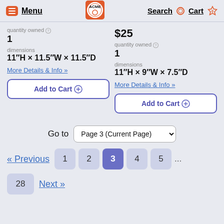Menu | ACME | Search | Cart 0
quantity owned
1
dimensions
11"H × 11.5"W × 11.5"D
$25
quantity owned
1
dimensions
11"H × 9"W × 7.5"D
More Details & Info »
More Details & Info »
Add to Cart
Add to Cart
Go to  Page 3 (Current Page)
« Previous  1  2  3  4  5  ...  28  Next »